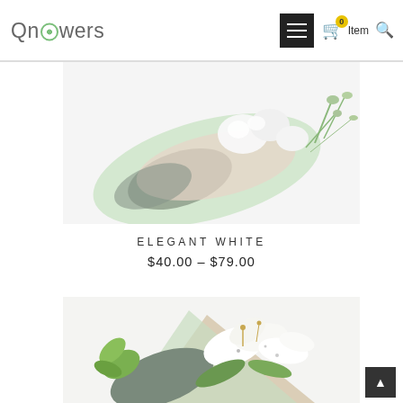QnFlowers — (0) Item
[Figure (photo): A white flower bouquet wrapped in light green paper, showing white blooms and small green buds, on a white background.]
ELEGANT WHITE
$40.00 – $79.00
[Figure (photo): A white lily bouquet wrapped in light green and dark grey paper with a green ribbon bow, on a white background.]